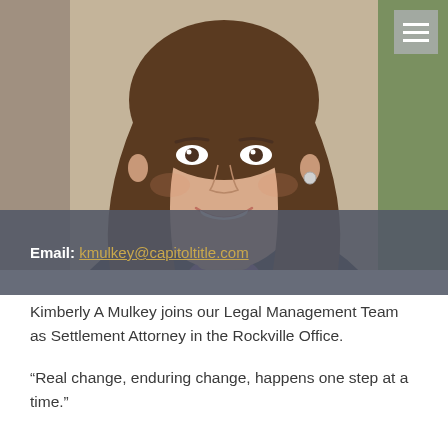[Figure (photo): Professional headshot of Kimberly A Mulkey, a woman with long brown hair, smiling, wearing a dark blazer with a purple top, seated indoors with a warm-toned background.]
Email: kmulkey@capitoltitle.com
Kimberly A Mulkey joins our Legal Management Team as Settlement Attorney in the Rockville Office.
“Real change, enduring change, happens one step at a time.”